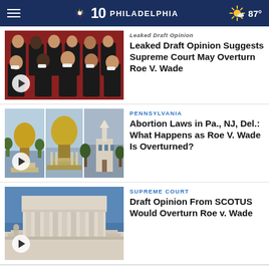NBC10 Philadelphia | 87°
[Figure (screenshot): Supreme Court justices group photo, video thumbnail with play button]
Leaked Draft Opinion Suggests Supreme Court May Overturn Roe V. Wade
[Figure (photo): Three-panel image of state capitol buildings (NJ, PA, DE)]
PENNSYLVANIA
Abortion Laws in Pa., NJ, Del.: What Happens as Roe V. Wade Is Overturned?
[Figure (photo): US Supreme Court building exterior, video thumbnail with play button]
SUPREME COURT
Draft Opinion From SCOTUS Would Overturn Roe v. Wade